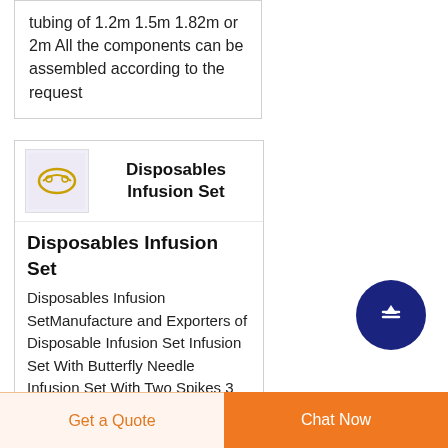tubing of 1.2m 1.5m 1.82m or 2m All the components can be assembled according to the request
[Figure (photo): Small thumbnail image of disposables infusion set product on light purple background]
Disposables Infusion Set
Disposables Infusion Set
Disposables Infusion SetManufacture and Exporters of Disposable Infusion Set Infusion Set With Butterfly Needle Infusion Set With Two Spikes 3 Way Stopcock Scalp Vein Set Manufacturer India
Get a Quote  Chat Now